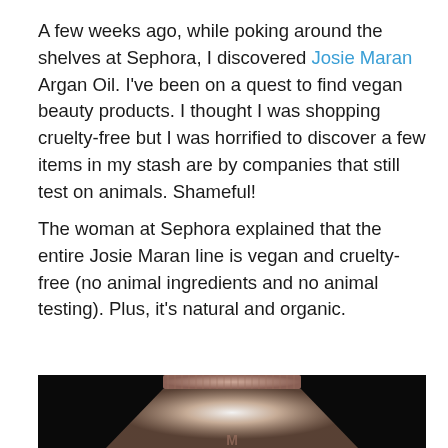A few weeks ago, while poking around the shelves at Sephora, I discovered Josie Maran Argan Oil. I've been on a quest to find vegan beauty products. I thought I was shopping cruelty-free but I was horrified to discover a few items in my stash are by companies that still test on animals. Shameful!
The woman at Sephora explained that the entire Josie Maran line is vegan and cruelty-free (no animal ingredients and no animal testing). Plus, it's natural and organic.
[Figure (photo): Close-up photo of a Josie Maran cosmetic product tube/bottle illuminated against a dark black background, showing the metallic rose-gold textured cap and the glowing white front of the tube with partial logo visible at bottom.]